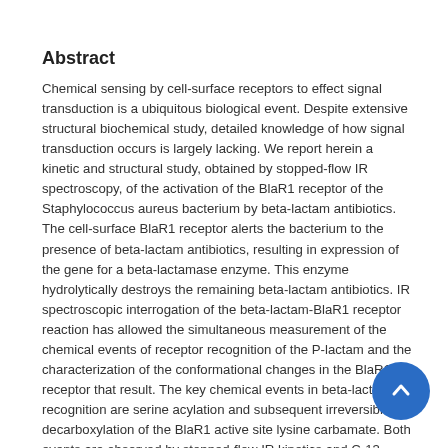Abstract
Chemical sensing by cell-surface receptors to effect signal transduction is a ubiquitous biological event. Despite extensive structural biochemical study, detailed knowledge of how signal transduction occurs is largely lacking. We report herein a kinetic and structural study, obtained by stopped-flow IR spectroscopy, of the activation of the BlaR1 receptor of the Staphylococcus aureus bacterium by beta-lactam antibiotics. The cell-surface BlaR1 receptor alerts the bacterium to the presence of beta-lactam antibiotics, resulting in expression of the gene for a beta-lactamase enzyme. This enzyme hydrolytically destroys the remaining beta-lactam antibiotics. IR spectroscopic interrogation of the beta-lactam-BlaR1 receptor reaction has allowed the simultaneous measurement of the chemical events of receptor recognition of the P-lactam and the characterization of the conformational changes in the BlaR1 receptor that result. The key chemical events in beta-lactam recognition are serine acylation and subsequent irreversible decarboxylation of the BlaR1 active site lysine carbamate. Both events are observed by stopped-flow IR kinetics and C-13 isotope-edited IR